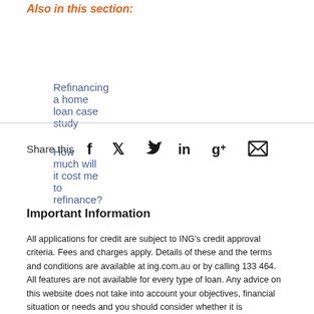Also in this section:
Refinancing a home loan case study
How much will it cost me to refinance?
Share this
Important Information
All applications for credit are subject to ING's credit approval criteria. Fees and charges apply. Details of these and the terms and conditions are available at ing.com.au or by calling 133 464. All features are not available for every type of loan. Any advice on this website does not take into account your objectives, financial situation or needs and you should consider whether it is appropriate for you. Before making any decision in relation to any of our products you should read the relevant Terms and Conditions booklet and Fees and Limits